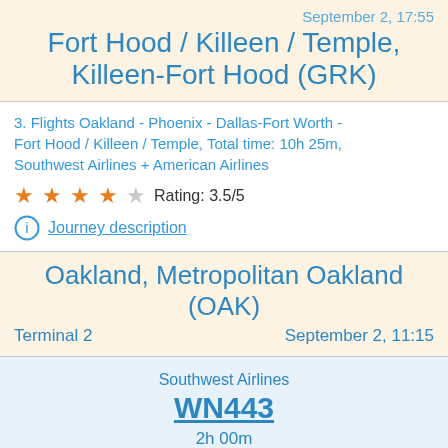September 2, 17:55
Fort Hood / Killeen / Temple, Killeen-Fort Hood (GRK)
3. Flights Oakland - Phoenix - Dallas-Fort Worth - Fort Hood / Killeen / Temple, Total time: 10h 25m, Southwest Airlines + American Airlines
Rating: 3.5/5
Journey description
Oakland, Metropolitan Oakland (OAK)
Terminal 2    September 2, 11:15
Southwest Airlines
WN443
2h 00m
Boeing 737-700 (winglets)
Terminal 4    September 2, 13:15